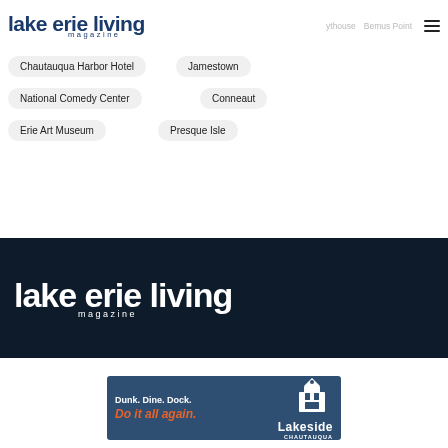lake erie living magazine
Chautauqua Harbor Hotel
Jamestown
National Comedy Center
Conneaut
Erie Art Museum
Presque Isle
[Figure (logo): Lake Erie Living magazine white logo on dark navy background]
[Figure (other): Lakeside Chautauqua advertisement banner: Dunk. Dine. Dock. Do it all again.]